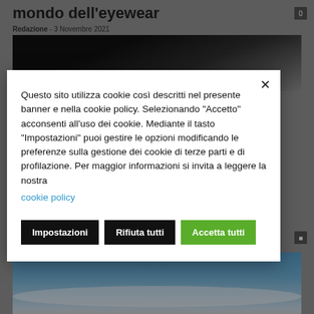mondo dell'eyewear
Redazione - 3 Novembre 2021
[Figure (photo): Dark abstract background image at top of page]
Questo sito utilizza cookie così descritti nel presente banner e nella cookie policy. Selezionando "Accetto" acconsenti all'uso dei cookie. Mediante il tasto "Impostazioni" puoi gestire le opzioni modificando le preferenze sulla gestione dei cookie di terze parti e di profilazione. Per maggior informazioni si invita a leggere la nostra cookie policy
Impostazioni
Rifiuta tutti
Accetta tutti
Dalle ore stia
[Figure (photo): Blue sky with clouds at bottom of page]